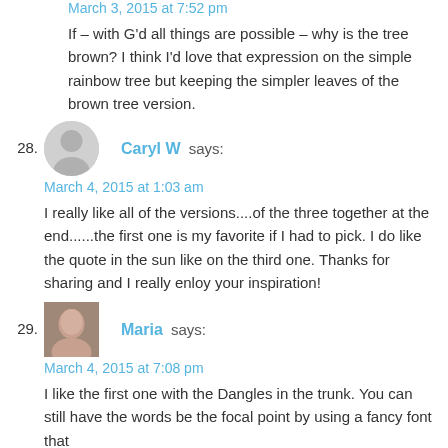March 3, 2015 at 7:52 pm
If – with G'd all things are possible – why is the tree brown? I think I'd love that expression on the simple rainbow tree but keeping the simpler leaves of the brown tree version.
28. Caryl W says:
March 4, 2015 at 1:03 am
I really like all of the versions....of the three together at the end......the first one is my favorite if I had to pick. I do like the quote in the sun like on the third one. Thanks for sharing and I really enloy your inspiration!
29. Maria says:
March 4, 2015 at 7:08 pm
I like the first one with the Dangles in the trunk. You can still have the words be the focal point by using a fancy font that